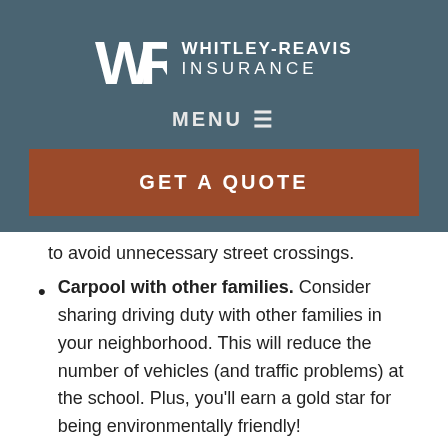[Figure (logo): Whitley-Reavis Insurance logo with WR monogram in white on teal background]
MENU ☰
GET A QUOTE
to avoid unnecessary street crossings.
Carpool with other families. Consider sharing driving duty with other families in your neighborhood. This will reduce the number of vehicles (and traffic problems) at the school. Plus, you'll earn a gold star for being environmentally friendly!